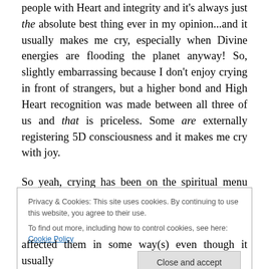people with Heart and integrity and it's always just the absolute best thing ever in my opinion...and it usually makes me cry, especially when Divine energies are flooding the planet anyway! So, slightly embarrassing because I don't enjoy crying in front of strangers, but a higher bond and High Heart recognition was made between all three of us and that is priceless. Some are externally registering 5D consciousness and it makes me cry with joy.
So yeah, crying has been on the spiritual menu once
Privacy & Cookies: This site uses cookies. By continuing to use this website, you agree to their use.
To find out more, including how to control cookies, see here: Cookie Policy
affected them in some way(s) even though it usually